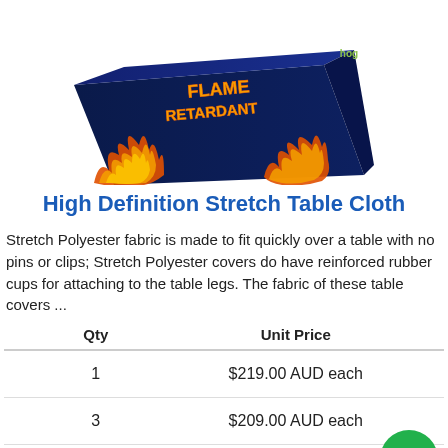[Figure (photo): A dark navy blue stretch table cloth with flame retardant text and fire/flame graphics printed on it, shown at an angle.]
High Definition Stretch Table Cloth
Stretch Polyester fabric is made to fit quickly over a table with no pins or clips; Stretch Polyester covers do have reinforced rubber cups for attaching to the table legs. The fabric of these table covers ...
| Qty | Unit Price |
| --- | --- |
| 1 | $219.00 AUD each |
| 3 | $209.00 AUD each |
| 5 | $199.00 AUD each |